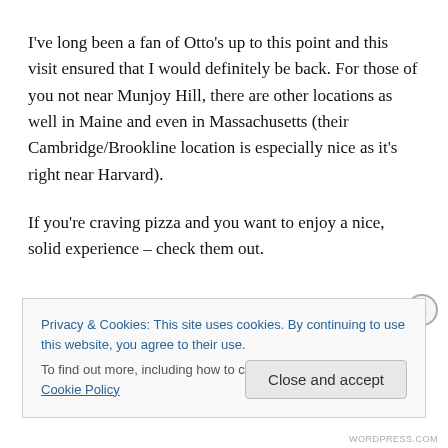I've long been a fan of Otto's up to this point and this visit ensured that I would definitely be back. For those of you not near Munjoy Hill, there are other locations as well in Maine and even in Massachusetts (their Cambridge/Brookline location is especially nice as it's right near Harvard).
If you're craving pizza and you want to enjoy a nice, solid experience – check them out.
Privacy & Cookies: This site uses cookies. By continuing to use this website, you agree to their use.
To find out more, including how to control cookies, see here: Cookie Policy
Close and accept